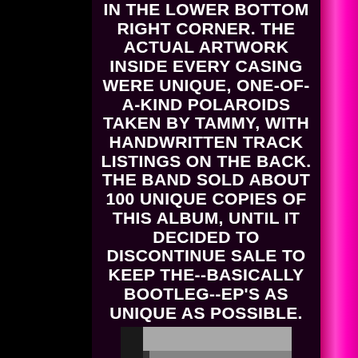IN THE LOWER BOTTOM RIGHT CORNER. THE ACTUAL ARTWORK INSIDE EVERY CASING WERE UNIQUE, ONE-OF-A-KIND POLAROIDS TAKEN BY TAMMY, WITH HANDWRITTEN TRACK LISTINGS ON THE BACK. THE BAND SOLD ABOUT 100 UNIQUE COPIES OF THIS ALBUM, UNTIL IT DECIDED TO DISCONTINUE SALE TO KEEP THE--BASICALLY BOOTLEG--EP'S AS UNIQUE AS POSSIBLE.
[Figure (photo): Black and white photo of an arched courtyard or corridor with columns and archways, with the text 'AVIAC AKO 250 NÁVŠTEVNÍKOV' overlaid in white bold font.]
A DAY IN THE LIFE OF A BAND (2016)